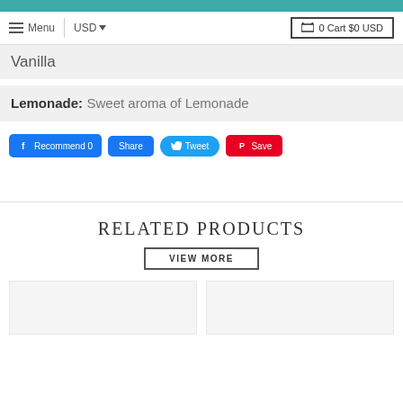Menu | USD | 0 Cart $0 USD
Vanilla
Lemonade: Sweet aroma of Lemonade
[Figure (other): Social sharing buttons: Recommend 0 (Facebook), Share, Tweet, Save (Pinterest)]
RELATED PRODUCTS
VIEW MORE
[Figure (other): Two product card thumbnails side by side]